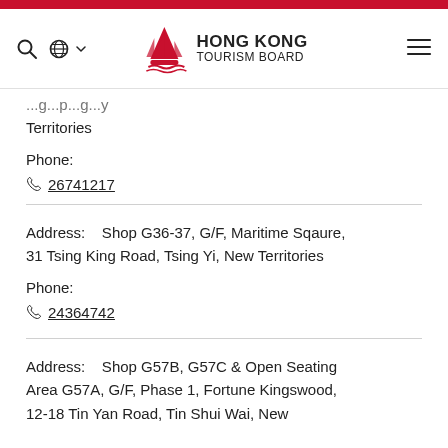[Figure (logo): Hong Kong Tourism Board logo with red junk boat sail icon and text HONG KONG TOURISM BOARD]
...g...p...g...y Territories
Phone:
26741217
Address:    Shop G36-37, G/F, Maritime Sqaure, 31 Tsing King Road, Tsing Yi, New Territories
Phone:
24364742
Address:    Shop G57B, G57C & Open Seating Area G57A, G/F, Phase 1, Fortune Kingswood, 12-18 Tin Yan Road, Tin Shui Wai, New